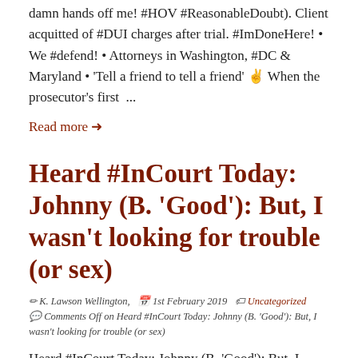damn hands off me! #HOV #ReasonableDoubt). Client acquitted of #DUI charges after trial. #ImDoneHere! • We #defend! • Attorneys in Washington, #DC & Maryland • 'Tell a friend to tell a friend' ✌ When the prosecutor's first  ...
Read more →
Heard #InCourt Today: Johnny (B. 'Good'): But, I wasn't looking for trouble (or sex)
✏ K. Lawson Wellington,  📅 1st February 2019  🏷 Uncategorized 💬 Comments Off on Heard #InCourt Today: Johnny (B. 'Good'): But, I wasn't looking for trouble (or sex)
Heard #InCourt Today: Johnny (B. 'Good'): But, I wasn't looking for trouble (or sex). #DCLawyer: Yea; but sometimes trouble comes looking for you, though... And you end up with a Soliciting Prostitution or Sexual Solicitation arrest and